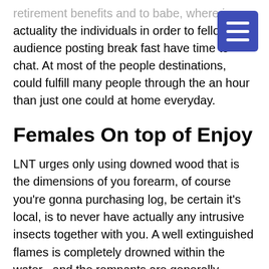retirement benefits and to babe, where in actuality the individuals in order to fellow audience posting break fast have time to chat. At most of the people destinations, could fulfill many people through the an hour than just one could at home everyday.
Females On top of Enjoy
LNT urges only using downed wood that is the dimensions of you forearm, of course you're gonna purchasing log, be certain it's local, is to never have actually any intrusive insects together with you. A well extinguished flames is completely drowned within the water , and the remnants are generally sprayed than a the size of fields far from camp because filled aside. Delivering your very own flame mug will always be energized, when one wear't it is actually you will want a flame